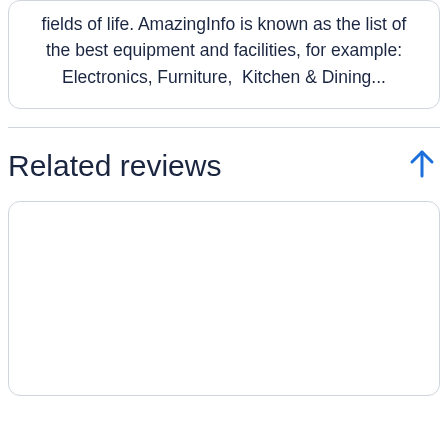fields of life. AmazingInfo is known as the list of the best equipment and facilities, for example: Electronics, Furniture,  Kitchen & Dining...
Related reviews
[Figure (other): Empty white card/box with rounded border, representing a placeholder for related reviews content]